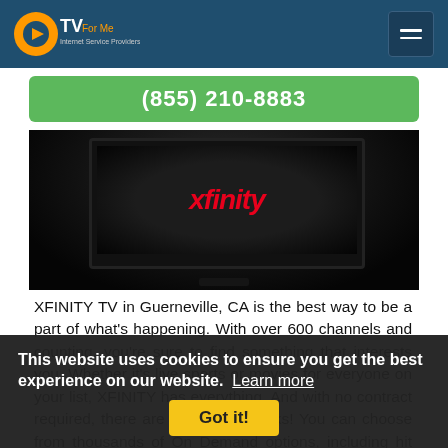CTVForMe - Internet Service Providers
(855) 210-8883
[Figure (photo): Xfinity logo displayed on a flat-screen TV in a dark room]
XFINITY TV in Guerneville, CA is the best way to be a part of what's happening. With over 600 channels and counting, you're sure to find something that interests you. Whether it's live sports or movies for everyone on your list, XFINITY has everything. And with no contract required, there are even more perks! You can choose from thousands of On Demand options, including hit movies to
This website uses cookies to ensure you get the best experience on our website. Learn more
Got it!